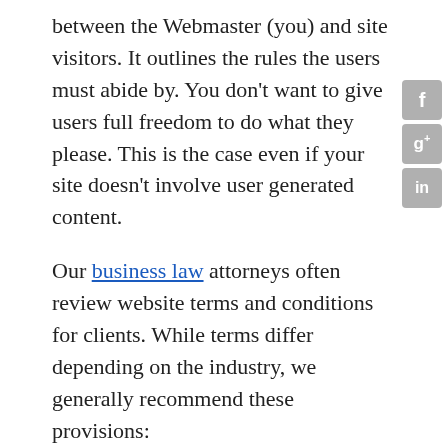between the Webmaster (you) and site visitors. It outlines the rules the users must abide by. You don't want to give users full freedom to do what they please. This is the case even if your site doesn't involve user generated content.
Our business law attorneys often review website terms and conditions for clients. While terms differ depending on the industry, we generally recommend these provisions:
The activities that constitute violations
The consequences for users that fail to comply
A privacy policy section that declares the type of information the website collects from users and how it may use that information